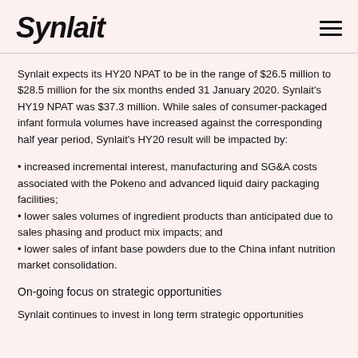Synlait
Synlait expects its HY20 NPAT to be in the range of $26.5 million to $28.5 million for the six months ended 31 January 2020. Synlait's HY19 NPAT was $37.3 million. While sales of consumer-packaged infant formula volumes have increased against the corresponding half year period, Synlait's HY20 result will be impacted by:
increased incremental interest, manufacturing and SG&A costs associated with the Pokeno and advanced liquid dairy packaging facilities;
lower sales volumes of ingredient products than anticipated due to sales phasing and product mix impacts; and
lower sales of infant base powders due to the China infant nutrition market consolidation.
On-going focus on strategic opportunities
Synlait continues to invest in long term strategic opportunities